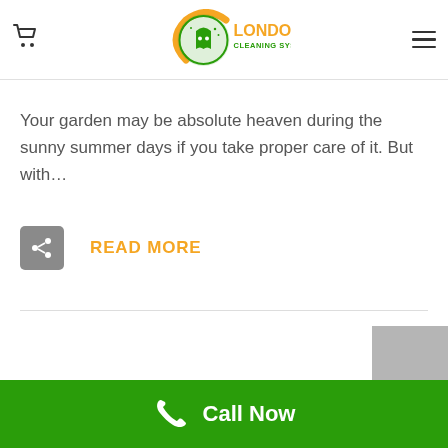London Cleaning System - navigation bar with cart icon, logo, and hamburger menu
11 Aug: Cleaning Tools for Your Garden
Your garden may be absolute heaven during the sunny summer days if you take proper care of it. But with…
READ MORE
Call Now